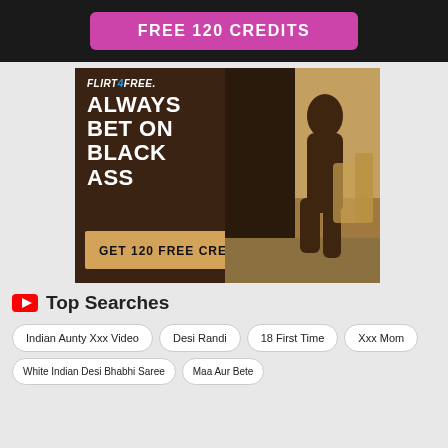[Figure (other): Dark banner with pink/magenta button labeled FREE 120 CREDITS]
[Figure (other): Flirt4Free advertisement: dark brown background with logo, headline ALWAYS BET ON BLACK ASS, gold CTA button GET 120 FREE CREDITS, photo of model on right side]
Top Searches
Indian Aunty Xxx Video
Desi Randi
18 First Time
Xxx Mom